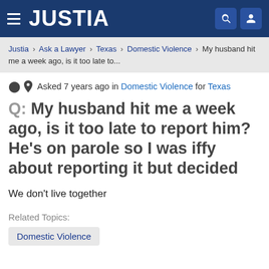JUSTIA
Justia > Ask a Lawyer > Texas > Domestic Violence > My husband hit me a week ago, is it too late to...
Asked 7 years ago in Domestic Violence for Texas
Q: My husband hit me a week ago, is it too late to report him? He's on parole so I was iffy about reporting it but decided
We don't live together
Related Topics:
Domestic Violence